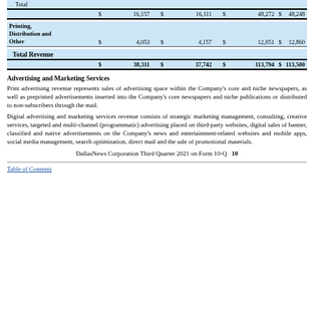|  | $ |  | $ |  | $ |  | $ |  |
| --- | --- | --- | --- | --- | --- | --- | --- | --- |
| Total |  |  |  |  |  |  |  |  |
|  | $ | 16,157 | $ | 16,111 | $ | 48,272 | $ | 48,248 |
| Printing, Distribution and Other | $ | 4,053 | $ | 4,157 | $ | 12,051 | $ | 12,860 |
| Total Revenue |  |  |  |  |  |  |  |  |
|  | $ | 38,311 | $ | 37,742 | $ | 113,794 | $ | 113,500 |
Advertising and Marketing Services
Print advertising revenue represents sales of advertising space within the Company's core and niche newspapers, as well as preprinted advertisements inserted into the Company's core newspapers and niche publications or distributed to non-subscribers through the mail.
Digital advertising and marketing services revenue consists of strategic marketing management, consulting, creative services, targeted and multi-channel (programmatic) advertising placed on third-party websites, digital sales of banner, classified and native advertisements on the Company's news and entertainment-related websites and mobile apps, social media management, search optimization, direct mail and the sale of promotional materials.
DallasNews Corporation Third Quarter 2021 on Form 10-Q    10
Table of Contents